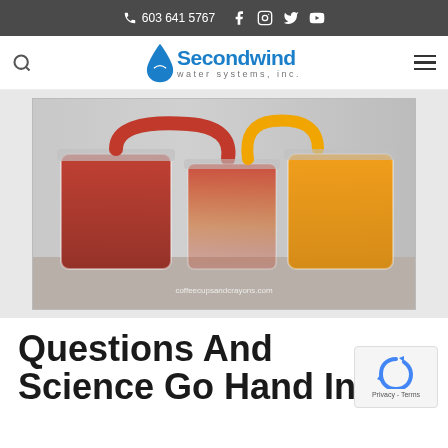603 641 5767
[Figure (logo): Secondwind water systems, inc. logo with blue water drop]
[Figure (photo): Three mason jars with colored water (red and orange/yellow) connected by tubes, from coffeecupsandcrayons.com]
Questions And Science Go Hand In